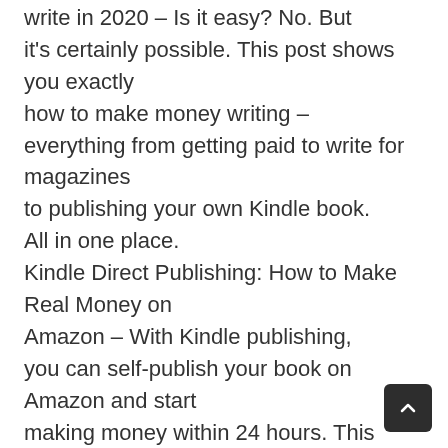write in 2020 – Is it easy? No. But it's certainly possible. This post shows you exactly how to make money writing – everything from getting paid to write for magazines to publishing your own Kindle book. All in one place. Kindle Direct Publishing: How to Make Real Money on Amazon – With Kindle publishing, you can self-publish your book on Amazon and start making money within 24 hours. This massive, how-to KDP guide will show you how. How to Run Your First Webinar (with No Skills, No Stress and No Budget) – Does running a webinar sound scary and expensive? Here's how run a simple webinar that builds